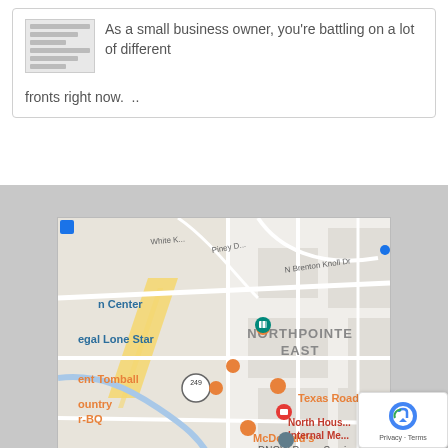As a small business owner, you're battling on a lot of different fronts right now.  ..
[Figure (map): Google Maps screenshot showing Northpointe East area near Tomball, Texas. Visible landmarks include Texas Roadhouse, McDonald's, DNOW Power Service, North Houston Internal Medicine, Regal Lone Star cinema, and highway 249. Orange food/restaurant pins and a red location pin are visible.]